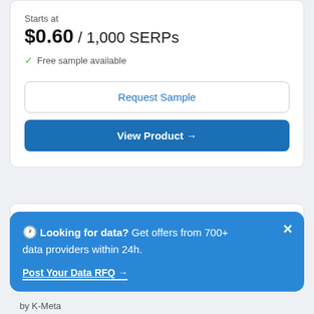Starts at
$0.60 / 1,000 SERPs
✓ Free sample available
Request Sample
View Product →
[Figure (logo): K-META company logo with orange accent]
🕐 Looking for data? Get offers from 700+ data providers within 24h.
Post Your Data RFQ →
by K-Meta